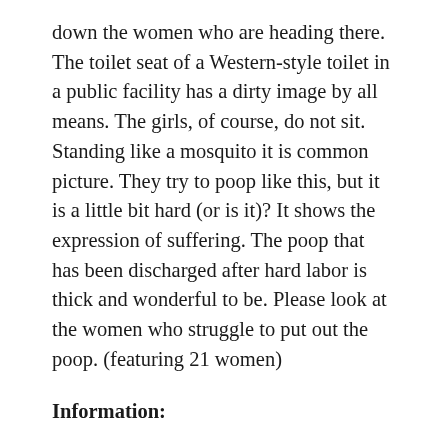down the women who are heading there. The toilet seat of a Western-style toilet in a public facility has a dirty image by all means. The girls, of course, do not sit. Standing like a mosquito it is common picture. They try to poop like this, but it is a little bit hard (or is it)? It shows the expression of suffering. The poop that has been discharged after hard labor is thick and wonderful to be. Please look at the women who struggle to put out the poop. (featuring 21 women)
Information:
Title: EE-469.mp4
File Size:3.64 GB